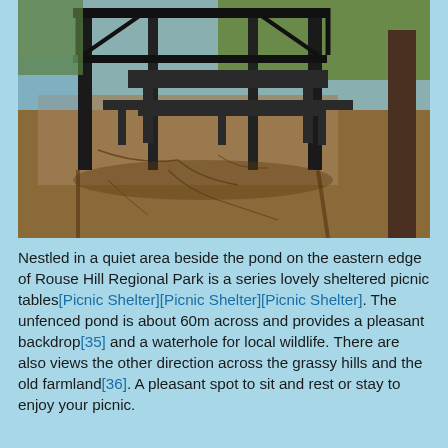[Figure (photo): Outdoor photo of a picnic shelter with dark metal frame and wooden picnic table, set on a sandy/dirt ground area. Grass and trees are visible in the background. Taken at Rouse Hill Regional Park.]
Nestled in a quiet area beside the pond on the eastern edge of Rouse Hill Regional Park is a series lovely sheltered picnic tables[Picnic Shelter][Picnic Shelter][Picnic Shelter]. The unfenced pond is about 60m across and provides a pleasant backdrop[35] and a waterhole for local wildlife. There are also views the other direction across the grassy hills and the old farmland[36]. A pleasant spot to sit and rest or stay to enjoy your picnic.